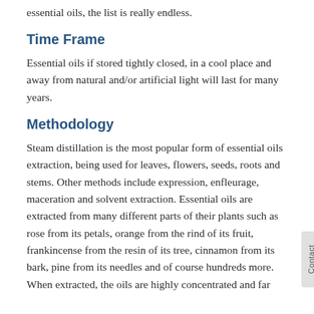essential oils, the list is really endless.
Time Frame
Essential oils if stored tightly closed, in a cool place and away from natural and/or artificial light will last for many years.
Methodology
Steam distillation is the most popular form of essential oils extraction, being used for leaves, flowers, seeds, roots and stems. Other methods include expression, enfleurage, maceration and solvent extraction. Essential oils are extracted from many different parts of their plants such as rose from its petals, orange from the rind of its fruit, frankincense from the resin of its tree, cinnamon from its bark, pine from its needles and of course hundreds more. When extracted, the oils are highly concentrated and far